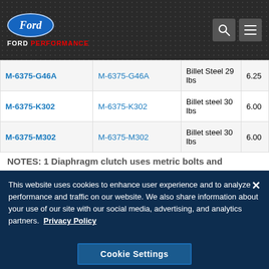Ford Performance
| Part Number | Part Number | Material / Weight | Price |
| --- | --- | --- | --- |
| M-6375-G46A | M-6375-G46A | Billet Steel 29 lbs | 6.25 |
| M-6375-K302 | M-6375-K302 | Billet steel 30 lbs | 6.00 |
| M-6375-M302 | M-6375-M302 | Billet steel 30 lbs | 6.00 |
| M-6375-N427 | M-6375-N427 | Billet steel 29 lbs | 6.00 |
NOTES: 1 Diaphragm clutch uses metric bolts and
This website uses cookies to enhance user experience and to analyze performance and traffic on our website. We also share information about your use of our site with our social media, advertising, and analytics partners. Privacy Policy
Cookie Settings